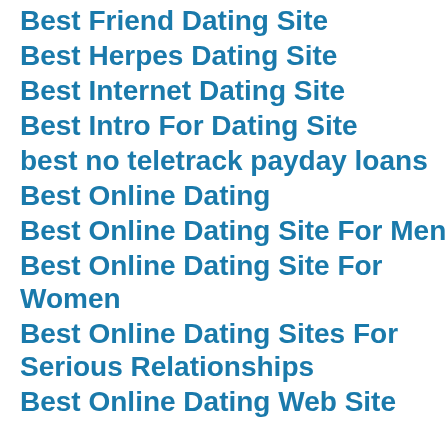Best Friend Dating Site
Best Herpes Dating Site
Best Internet Dating Site
Best Intro For Dating Site
best no teletrack payday loans
Best Online Dating
Best Online Dating Site For Men
Best Online Dating Site For Women
Best Online Dating Sites For Serious Relationships
Best Online Dating Web Site